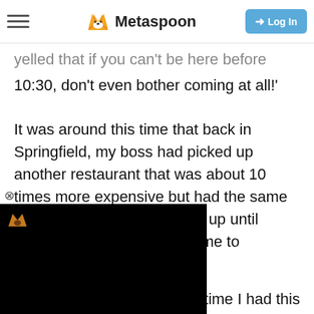Metaspoon — Log In
yelled that if you can't be here before 10:30, don't even bother coming at all!'
It was around this time that back in Springfield, my boss had picked up another restaurant that was about 10 times more expensive but had the same issue of people not showing up until around 9:45-10:00 to allow me to
[Figure (screenshot): Black video/ad overlay with Metaspoon fox logo icon in top-left corner]
very time I had this